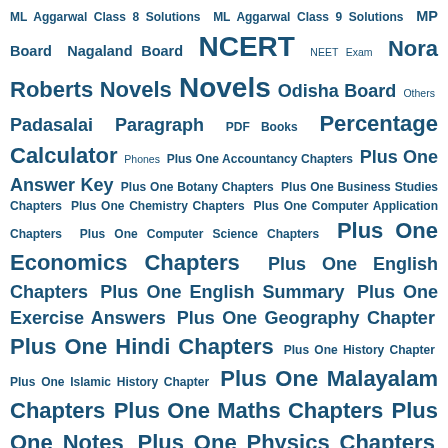ML Aggarwal Class 8 Solutions ML Aggarwal Class 9 Solutions MP Board Nagaland Board NCERT NEET Exam Nora Roberts Novels Novels Odisha Board Others Padasalai Paragraph PDF Books Percentage Calculator Phones Plus One Accountancy Chapters Plus One Answer Key Plus One Botany Chapters Plus One Business Studies Chapters Plus One Chemistry Chapters Plus One Computer Application Chapters Plus One Computer Science Chapters Plus One Economics Chapters Plus One English Chapters Plus One English Summary Plus One Exercise Answers Plus One Geography Chapter Plus One Hindi Chapters Plus One History Chapter Plus One Islamic History Chapter Plus One Malayalam Chapters Plus One Maths Chapters Plus One Notes Plus One Physics Chapters Plus One Political Science Chapter Plus One Psychology Chapter Plus One Sociology Chapter Plus One TextBooks Plus One Weightage Plus One Zoology Chapters Plus Two Accountancy Chapter Plus Two Answer Key Plus Two Botany Chapter Plus Two Business Studies Chapter Plus Two Chemistry Chapter Plus Two Computer Application Chapter Plus Two Computer Science Chapter Plus Two Economics Chapter Plus Two English Chapter Plus Two English Summary Plus Two Exercise Answers Plus Two Geography Chapter Plus Two Hindi Chapter Plus Two History Chapter Plus Two Islamic History Chapter Plus Two Malayalam Chapter Plus Two Maths Chapter Plus Two Notes Plus Two Physics Chapter Plus Two Political Science Chapter Plus Two Psychology Chapter Plus Two Sociology Chapter Plus Two TextBooks Plus Two